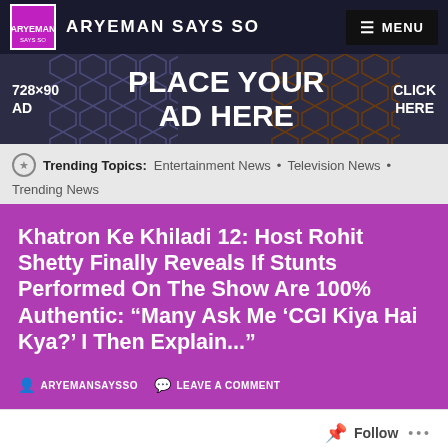ARYEMAN SAYS SO
[Figure (infographic): 728x90 ad banner placeholder reading PLACE YOUR AD HERE with hexagon pattern background and CLICK HERE button]
Trending Topics: Entertainment News • Television News • Trending News
Khatron Ke Khiladi 12: Host Rohit Shetty Finally Reveals If Stunts Performed On The Show Are 100% Authentic: “Many Ask Me ‘CGI Kiya Hai Kya?’ I Then Explain...”
ARYEMANSAYSSO   LEAVE A COMMENT